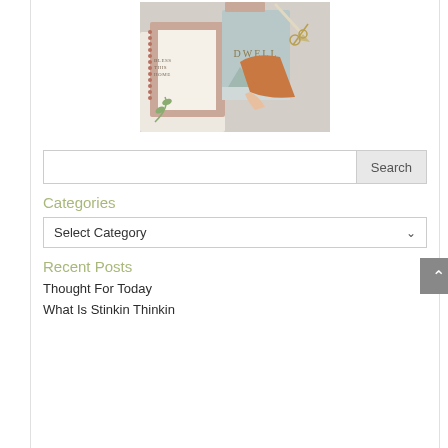[Figure (photo): A flatlay photo of journals and books including one titled 'DWELL', with a hand, pencil, greenery, and scissors on a light background]
Search
Categories
Select Category
Recent Posts
Thought For Today
What Is Stinkin Thinkin